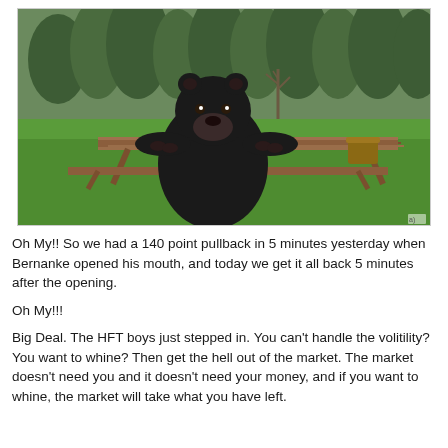[Figure (photo): A black bear sitting at a wooden picnic table outdoors, with green grass and trees in the background. The bear has its front paws on the table and appears to be sitting across from the camera.]
Oh My!! So we had a 140 point pullback in 5 minutes yesterday when Bernanke opened his mouth, and today we get it all back 5 minutes after the opening.
Oh My!!!
Big Deal. The HFT boys just stepped in. You can't handle the volitility? You want to whine? Then get the hell out of the market. The market doesn't need you and it doesn't need your money, and if you want to whine, the market will take what you have left.